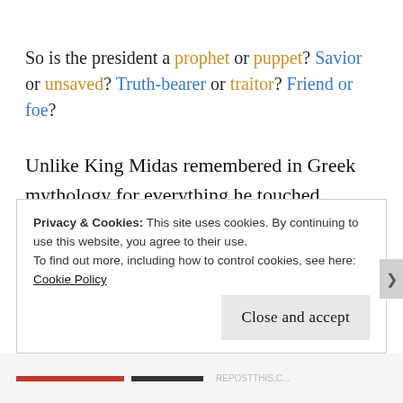So is the president a prophet or puppet? Savior or unsaved? Truth-bearer or traitor? Friend or foe?
Unlike King Midas remembered in Greek mythology for everything he touched turning to gold, the golden king more well known in the born-again believers'
Privacy & Cookies: This site uses cookies. By continuing to use this website, you agree to their use.
To find out more, including how to control cookies, see here: Cookie Policy
Close and accept